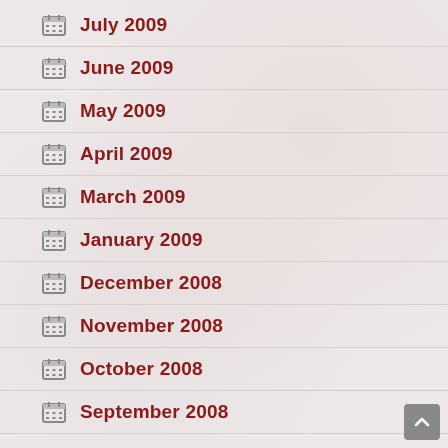July 2009
June 2009
May 2009
April 2009
March 2009
January 2009
December 2008
November 2008
October 2008
September 2008